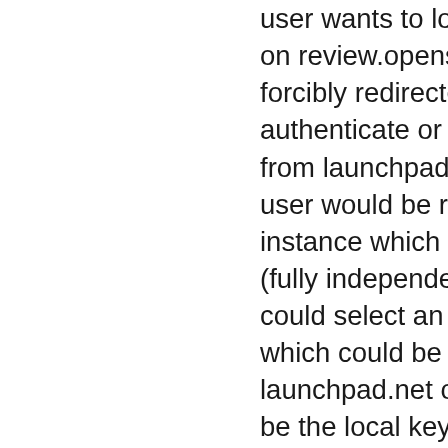user wants to log into the Gerrit web interface on review.openstack.org. Currently they are forcibly redirected to launchpad.net to either authenticate or reauthorize Gerrit to use data from launchpad. In the proposed model, the user would be redirected to a keystone instance which would present a web form (fully independent of horizon) where the user could select an identity provider to log in with, which could be openstackid.org or launchpad.net or google.com, or could even be the local keystone database. After selecting an identity provider, authenticating with it and returning to keystone, keystone